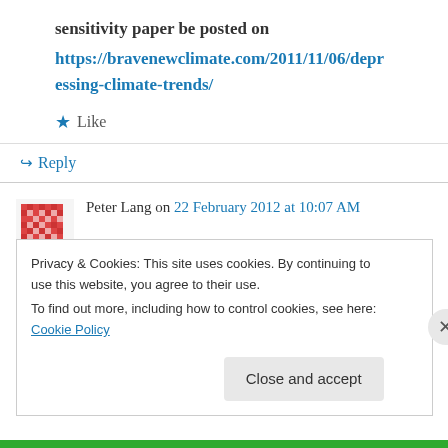sensitivity paper be posted on
https://bravenewclimate.com/2011/11/06/depressing-climate-trends/
★ Like
↪ Reply
Peter Lang on 22 February 2012 at 10:07 AM
Can anyone please refer me to a link where the estimated compliance cost of the CO2 tax and
Privacy & Cookies: This site uses cookies. By continuing to use this website, you agree to their use. To find out more, including how to control cookies, see here: Cookie Policy
Close and accept